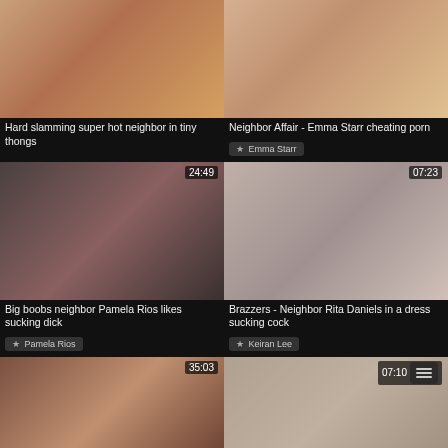[Figure (photo): Video thumbnail - Hard slamming super hot neighbor in tiny thongs]
Hard slamming super hot neighbor in tiny thongs
[Figure (photo): Video thumbnail - Neighbor Affair - Emma Starr cheating porn]
Neighbor Affair - Emma Starr cheating porn
★ Emma Starr
[Figure (photo): Video thumbnail 24:49 - Big boobs neighbor Pamela Rios likes sucking dick]
Big boobs neighbor Pamela Rios likes sucking dick
★ Pamela Rios
[Figure (photo): Video thumbnail 07:23 - Brazzers - Neighbor Rita Daniels in a dress sucking cock]
Brazzers - Neighbor Rita Daniels in a dress sucking cock
★ Keiran Lee
[Figure (photo): Video thumbnail 35:03 - bottom left video]
[Figure (photo): Video thumbnail 07:10 - bottom right video]